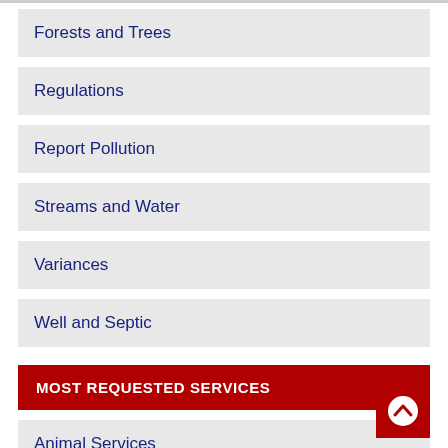Forests and Trees
Regulations
Report Pollution
Streams and Water
Variances
Well and Septic
MOST REQUESTED SERVICES
Animal Services
County Code